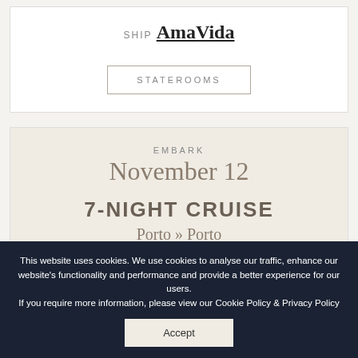SHIP AmaVida
STATEROOMS
EMBARK
November 12
7-NIGHT CRUISE
Porto » Porto
FREE ECONOMY AIR OR SAVE 20% ▼
PRICES ARE PER PERSON
This website uses cookies. We use cookies to analyse our traffic, enhance our website's functionality and performance and provide a better experience for our users.
If you require more information, please view our Cookie Policy & Privacy Policy
Accept